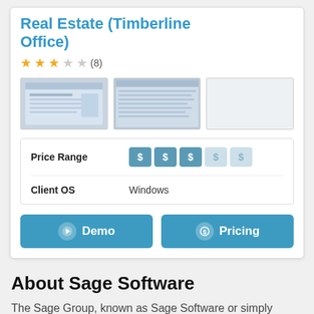Real Estate (Timberline Office)
★★★☆☆ (8)
[Figure (screenshot): Three software screenshots showing the Real Estate Timberline Office application interface]
| Property | Value |
| --- | --- |
| Price Range | $ $ $ $ $ |
| Client OS | Windows |
Demo  Pricing
About Sage Software
The Sage Group, known as Sage Software or simply Sage, is a British enterprise software company. They are the third...